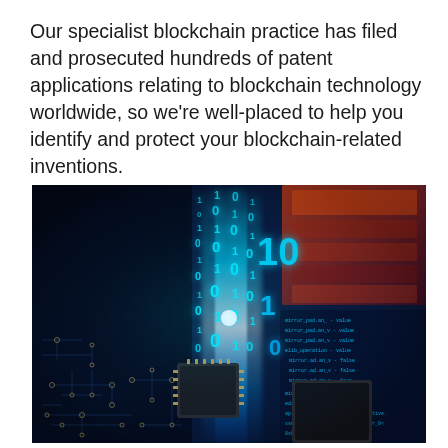Our specialist blockchain practice has filed and prosecuted hundreds of patent applications relating to blockchain technology worldwide, so we're well-placed to help you identify and protect your blockchain-related inventions.
[Figure (photo): Close-up photo of a circuit board with glowing blue binary code (streams of 0s and 1s) rising upward from a microchip, with red and orange digital display screens visible in the background, representing blockchain and digital technology.]